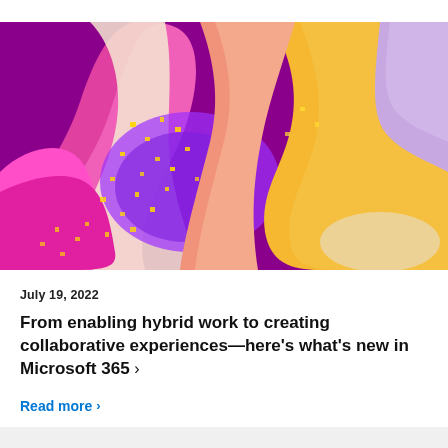[Figure (illustration): Abstract colorful 3D illustration featuring flowing curved shapes in magenta, pink, yellow, orange, and purple tones with scattered yellow square confetti-like dots on a vivid background]
July 19, 2022
From enabling hybrid work to creating collaborative experiences—here’s what’s new in Microsoft 365 ›
Read more ›